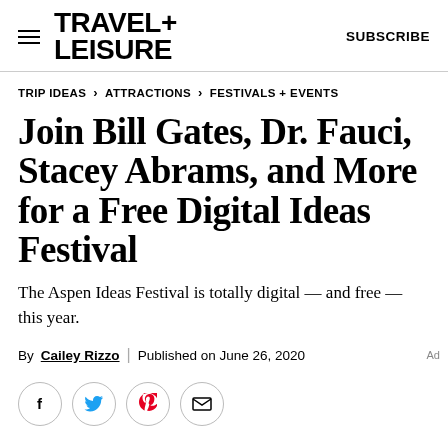TRAVEL+ LEISURE  SUBSCRIBE
TRIP IDEAS > ATTRACTIONS > FESTIVALS + EVENTS
Join Bill Gates, Dr. Fauci, Stacey Abrams, and More for a Free Digital Ideas Festival
The Aspen Ideas Festival is totally digital — and free — this year.
By Cailey Rizzo | Published on June 26, 2020
[Figure (illustration): Social share icons: Facebook, Twitter, Pinterest, Email]